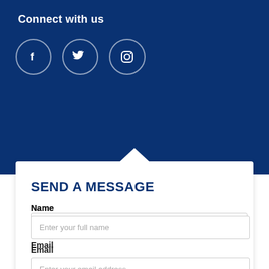Connect with us
[Figure (illustration): Three social media icons in circles: Facebook (f), Twitter (bird), Instagram (camera outline), on dark blue background]
SEND A MESSAGE
Name
Enter your full name
Email
Enter your email address
Send to
Select recipient
M